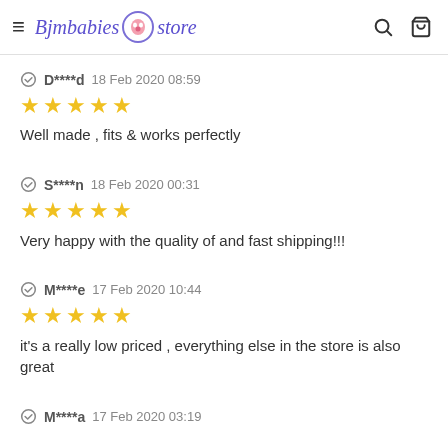Bjmbabies store
D****d 18 Feb 2020 08:59 ★★★★★ Well made , fits & works perfectly
S****n 18 Feb 2020 00:31 ★★★★★ Very happy with the quality of and fast shipping!!!
M****e 17 Feb 2020 10:44 ★★★★★ it's a really low priced , everything else in the store is also great
M****a 17 Feb 2020 03:19